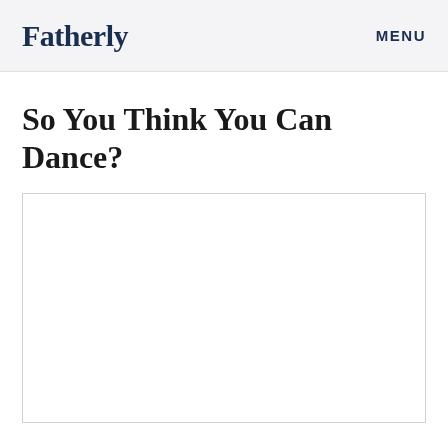Fatherly   MENU
So You Think You Can Dance?
[Figure (photo): White/blank image placeholder area]
A Room of One’s Own